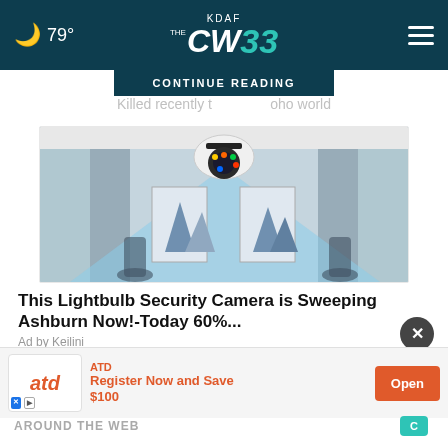79° KDAF CW 33
CONTINUE READING
Killed recently t...      ...oho world
[Figure (photo): A lightbulb security camera mounted on ceiling, scanning a room with a blue cone of light, showing wall art and shadows of figures]
This Lightbulb Security Camera is Sweeping Ashburn Now!-Today 60%...
Ad by Keilini
ATD
Register Now and Save
$100
AROUND THE WEB